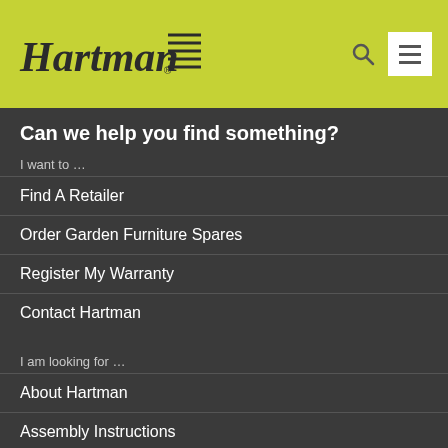[Figure (logo): Hartman brand logo with stylized italic text and line marks]
Can we help you find something?
I want to …
Find A Retailer
Order Garden Furniture Spares
Register My Warranty
Contact Hartman
I am looking for …
About Hartman
Assembly Instructions
Warranty Information
Privacy & Cookies